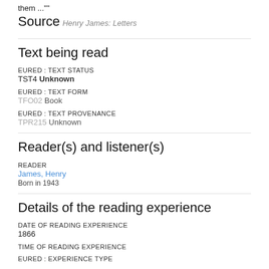them ...""
Source
Henry James: Letters
Text being read
EURED : TEXT STATUS
TST4 Unknown
EURED : TEXT FORM
TFO02 Book
EURED : TEXT PROVENANCE
TPR215 Unknown
Reader(s) and listener(s)
READER
James, Henry
Born in 1943
Details of the reading experience
DATE OF READING EXPERIENCE
1866
TIME OF READING EXPERIENCE
EURED : EXPERIENCE TYPE